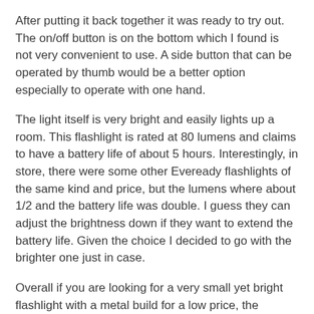After putting it back together it was ready to try out. The on/off button is on the bottom which I found is not very convenient to use. A side button that can be operated by thumb would be a better option especially to operate with one hand.
The light itself is very bright and easily lights up a room. This flashlight is rated at 80 lumens and claims to have a battery life of about 5 hours. Interestingly, in store, there were some other Eveready flashlights of the same kind and price, but the lumens where about 1/2 and the battery life was double. I guess they can adjust the brightness down if they want to extend the battery life. Given the choice I decided to go with the brighter one just in case.
Overall if you are looking for a very small yet bright flashlight with a metal build for a low price, the Eveready LED Pocket Flashlight is a good option. If you have larger hands or would like a flashlight with a thumb on/off button I would recommend another option.